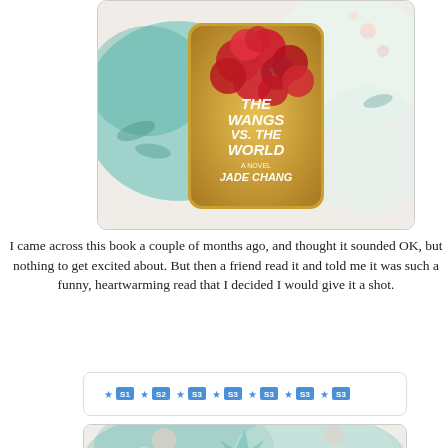[Figure (illustration): Book cover of 'The Wangs vs. The World: A Novel' by Jade Chang. Gold card background with red berry/bubble cluster decorations, white italic title text, teal and floral watercolor background elements.]
I came across this book a couple of months ago, and thought it sounded OK, but nothing to get excited about. But then a friend read it and told me it was such a funny, heartwarming read that I decided I would give it a shot.
[Figure (other): Star rating widget showing multiple star-number badge pairs in blue, resembling a rating breakdown (e.g., star ratings 1-5 with counts displayed as blue badges).]
[Figure (illustration): Partial book cover showing 'LAUREN GRAHAM' text at the bottom, with teal/floral watercolor background and dark lower portion.]